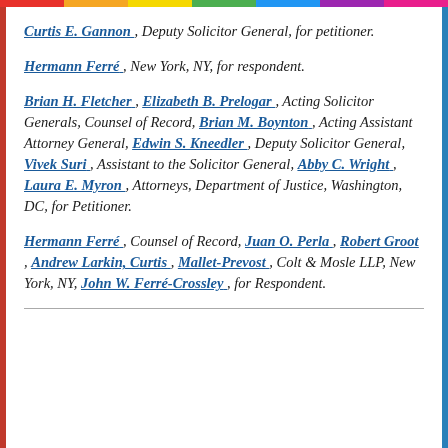Curtis E. Gannon, Deputy Solicitor General, for petitioner.
Hermann Ferré, New York, NY, for respondent.
Brian H. Fletcher, Elizabeth B. Prelogar, Acting Solicitor Generals, Counsel of Record, Brian M. Boynton, Acting Assistant Attorney General, Edwin S. Kneedler, Deputy Solicitor General, Vivek Suri, Assistant to the Solicitor General, Abby C. Wright, Laura E. Myron, Attorneys, Department of Justice, Washington, DC, for Petitioner.
Hermann Ferré, Counsel of Record, Juan O. Perla, Robert Groot, Andrew Larkin, Curtis, Mallet-Prevost, Colt & Mosle LLP, New York, NY, John W. Ferré-Crossley, for Respondent.